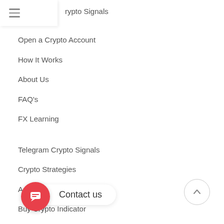rypto Signals
Open a Crypto Account
How It Works
About Us
FAQ's
FX Learning
Telegram Crypto Signals
Crypto Strategies
Accurate Crypto Signals
Buy Crypto Indicator
Buy FX Signals
Open a Crypto
Telegram Trade Copier
Contact us